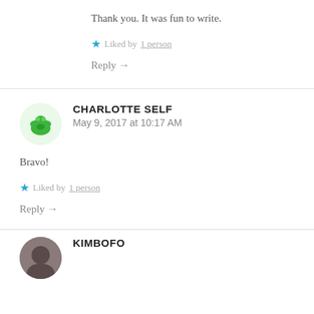Thank you. It was fun to write.
Liked by 1 person
Reply →
CHARLOTTE SELF
May 9, 2017 at 10:17 AM
Bravo!
Liked by 1 person
Reply →
KIMBOFO